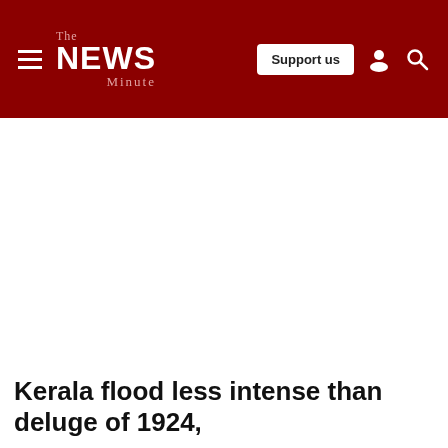The NEWS Minute — Support us
Kerala flood less intense than deluge of 1924,